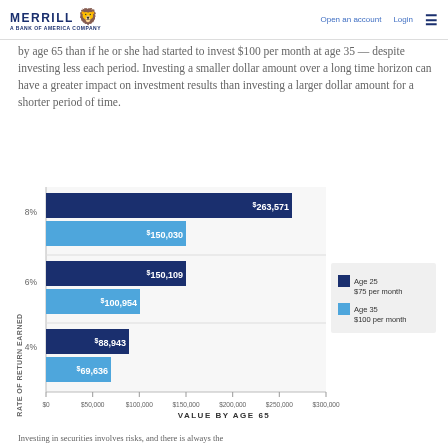MERRILL A BANK OF AMERICA COMPANY | Open an account | Login
by age 65 than if he or she had started to invest $100 per month at age 35 — despite investing less each period. Investing a smaller dollar amount over a long time horizon can have a greater impact on investment results than investing a larger dollar amount for a shorter period of time.
[Figure (grouped-bar-chart): VALUE BY AGE 65]
VALUE BY AGE 65
Investing in securities involves risks, and there is always the